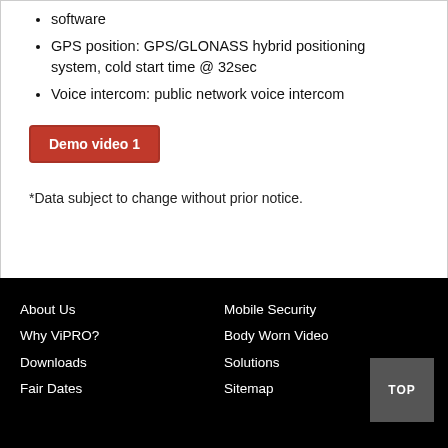software
GPS position: GPS/GLONASS hybrid positioning system, cold start time @ 32sec
Voice intercom: public network voice intercom
Demo video 1
*Data subject to change without prior notice.
About Us  Mobile Security
Why ViPRO?  Body Worn Video
Downloads  Solutions
Fair Dates  Sitemap
TOP